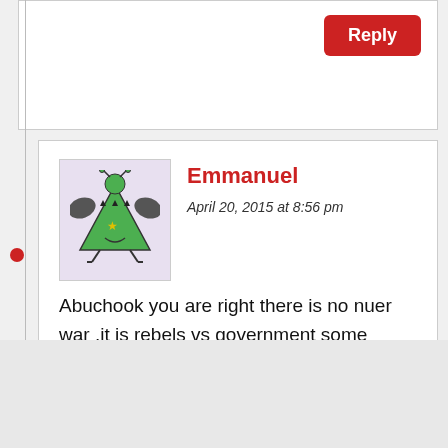Reply
Emmanuel
April 20, 2015 at 8:56 pm
[Figure (illustration): Green cartoon monster avatar with bat wings, three eyes, and bird feet on a light purple background]
Abuchook you are right there is no nuer war .it is rebels vs government some people have been brain wash by Dr tany.
Like
Advertisements
[Figure (screenshot): DuckDuckGo advertisement banner with orange background showing 'Search, browse, and email with more privacy. All in One Free App' text and a phone image with DuckDuckGo logo]